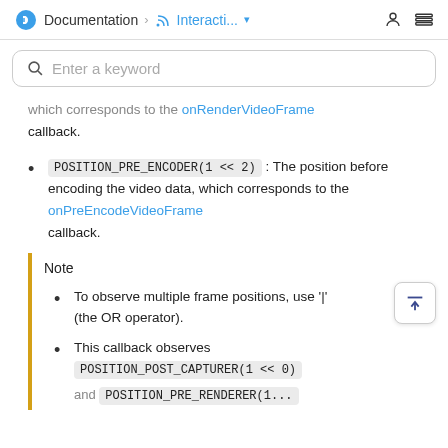Documentation > Interacti...
which corresponds to the onRenderVideoFrame callback.
POSITION_PRE_ENCODER(1 << 2) : The position before encoding the video data, which corresponds to the onPreEncodeVideoFrame callback.
Note
To observe multiple frame positions, use '|' (the OR operator).
This callback observes POSITION_POST_CAPTURER(1 << 0) and POSITION_PRE_RENDERER(1...